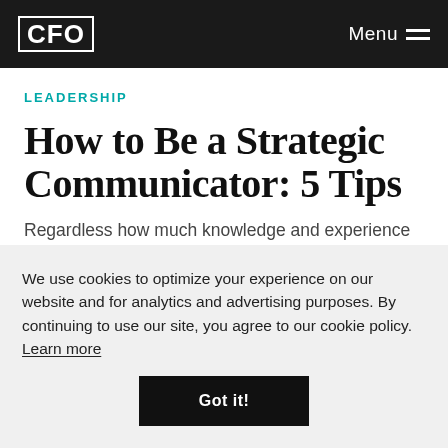CFO | Menu
LEADERSHIP
How to Be a Strategic Communicator: 5 Tips
Regardless how much knowledge and experience you have, strong collaboration skills will maximize your effectiveness.
We use cookies to optimize your experience on our website and for analytics and advertising purposes. By continuing to use our site, you agree to our cookie policy. Learn more
Got it!